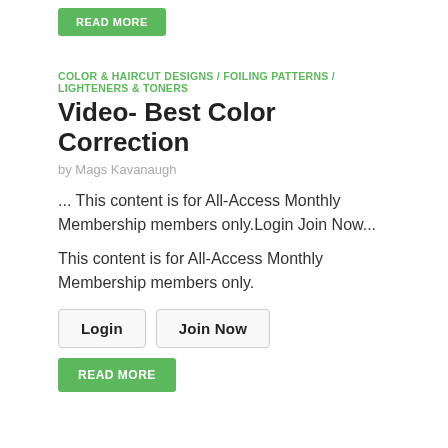READ MORE
COLOR & HAIRCUT DESIGNS / FOILING PATTERNS / LIGHTENERS & TONERS
Video- Best Color Correction
by Mags Kavanaugh
... This content is for All-Access Monthly Membership members only.Login Join Now...
This content is for All-Access Monthly Membership members only.
Login
Join Now
READ MORE
COLORING TECHNIQUES / FOILING PATTERNS
Video- Platinum Blonde